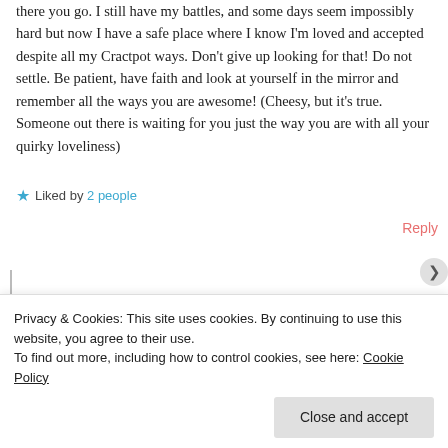there you go. I still have my battles, and some days seem impossibly hard but now I have a safe place where I know I'm loved and accepted despite all my Crackpot ways. Don't give up looking for that! Do not settle. Be patient, have faith and look at yourself in the mirror and remember all the ways you are awesome! (Cheesy, but it's true. Someone out there is waiting for you just the way you are with all your quirky loveliness)
★ Liked by 2 people
Reply
Privacy & Cookies: This site uses cookies. By continuing to use this website, you agree to their use.
To find out more, including how to control cookies, see here: Cookie Policy
Close and accept